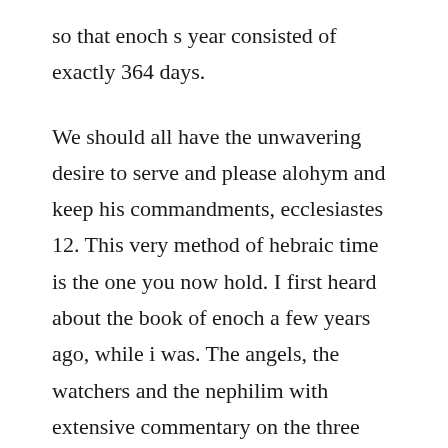so that enoch s year consisted of exactly 364 days.
We should all have the unwavering desire to serve and please alohym and keep his commandments, ecclesiastes 12. This very method of hebraic time is the one you now hold. I first heard about the book of enoch a few years ago, while i was. The angels, the watchers and the nephilim with extensive commentary on the three books of enoch, the fallen angels, the calendar.
The book of enoch has seven chapters that